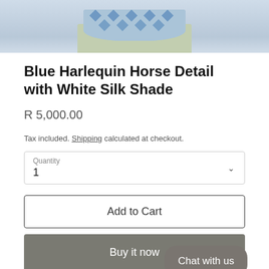[Figure (photo): Partial view of a decorative lamp with blue harlequin pattern on the base and a light blue shade, shown against a light blue-grey background.]
Blue Harlequin Horse Detail with White Silk Shade
R 5,000.00
Tax included. Shipping calculated at checkout.
Quantity 1
Add to Cart
Buy it now
Chat with us